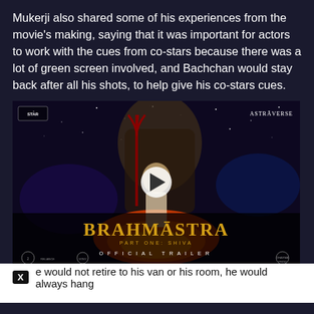Mukerji also shared some of his experiences from the movie's making, saying that it was important for actors to work with the cues from co-stars because there was a lot of green screen involved, and Bachchan would stay back after all his shots, to help give his co-stars cues.
[Figure (screenshot): Brahmastra Part One: Shiva Official Trailer video thumbnail with play button. Shows a figure holding a trishul standing amid fire with a large stone deity figure behind, set against a starry night sky. Star Studios and Astraverse logos in corners. Bottom bar shows BRAHMASTRA title in gold, PART ONE: SHIVA subtitle, OFFICIAL TRAILER text, and studio logos.]
e would not retire to his van or his room, he would always hang